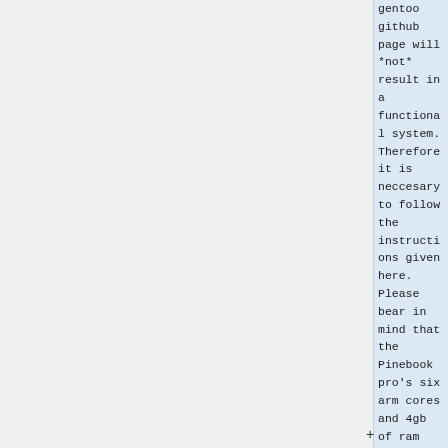gentoo github page will *not* result in a functional system. Therefore it is neccesary to follow the instructions given here. Please bear in mind that the Pinebook pro's six arm cores and 4gb of ram are extremely anemic. For example,